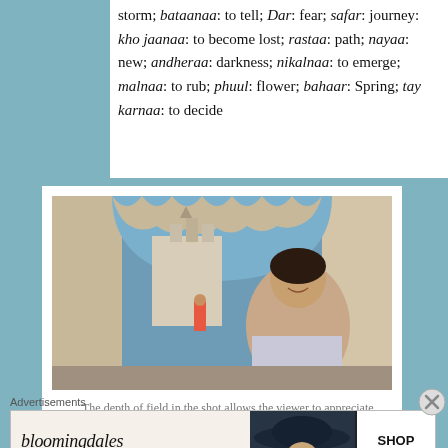storm; bataanaa: to tell; Dar: fear; safar: journey: kho jaanaa: to become lost; rastaa: path; nayaa: new; andheraa: darkness; nikalnaa: to emerge; malnaa: to rub; phuul: flower; bahaar: Spring; tay karnaa: to decide
[Figure (photo): A woman smiling in the foreground viewed through an ornate Mughal arch, with Dev Anand visible in the background at the Rani Padmini palace in Rajasthan, India.]
The depth of field in the shot allows the viewer to appreciate Dev Anand lagging behind in the background of the Rani Padmini palace in Rajasthan, India where "Aaj Phir Jeene Ki" was filmed on location.
Advertisements
[Figure (screenshot): Bloomingdale's advertisement banner: 'View Today's Top Deals!' with SHOP NOW > button and image of woman in hat.]